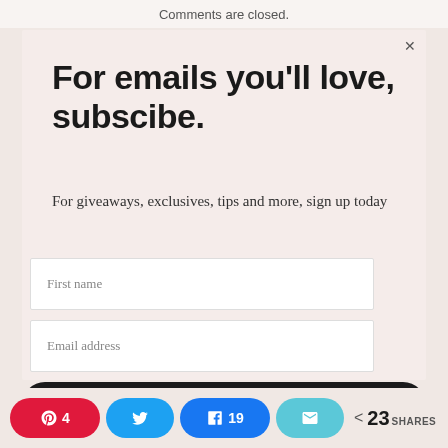Comments are closed.
For emails you'll love, subscibe.
For giveaways, exclusives, tips and more, sign up today
First name
Email address
SUBSCRIBE
Pinterest 4, Twitter, Facebook 19, Email, < 23 SHARES